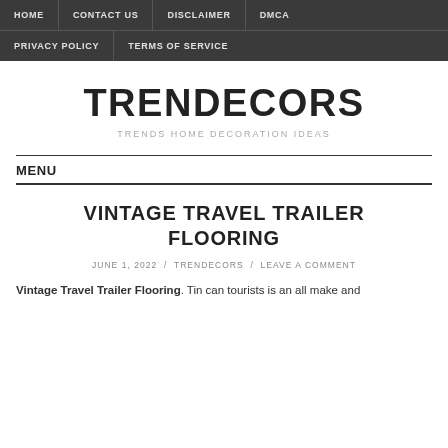HOME  CONTACT US  DISCLAIMER  DMCA  PRIVACY POLICY  TERMS OF SERVICE
TRENDECORS
TRENDS HOME DECORATION IDEAS
MENU
VINTAGE TRAVEL TRAILER FLOORING
JUNE 1, 2022 / TRENDECORS / LEAVE A COMMENT
Vintage Travel Trailer Flooring. Tin can tourists is an all make and